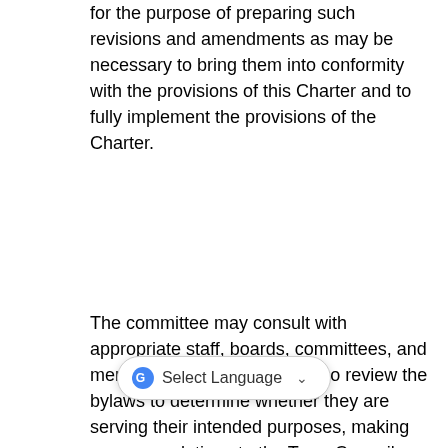for the purpose of preparing such revisions and amendments as may be necessary to bring them into conformity with the provisions of this Charter and to fully implement the provisions of the Charter.
The committee may consult with appropriate staff, boards, committees, and members of the public and also review the bylaws to determine whether they are serving their intended purposes, making recommendations to the Town Council-elect. The review shall be conducted under the supervision of the Town Attorney, or by special counsel appointed for that express purpose. The Town Manager shall provide logistical support and access to the Town Attorney as appro[priate. A member o]f the Charter Commission and a member of the Select Board will be available to assist the